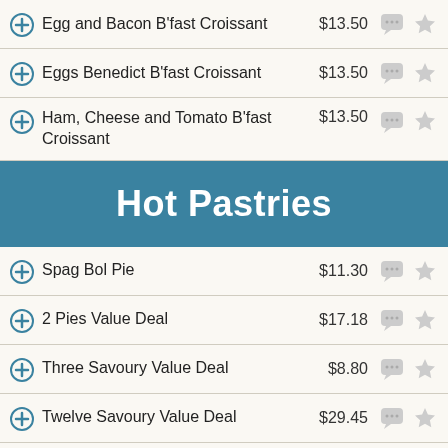Egg and Bacon B'fast Croissant  $13.50
Eggs Benedict B'fast Croissant  $13.50
Ham, Cheese and Tomato B'fast Croissant  $13.50
Hot Pastries
Spag Bol Pie  $11.30
2 Pies Value Deal  $17.18
Three Savoury Value Deal  $8.80
Twelve Savoury Value Deal  $29.45
12 Sml Savoury Value Deal  $33.63
Chicken Parmi Pie  $12.25